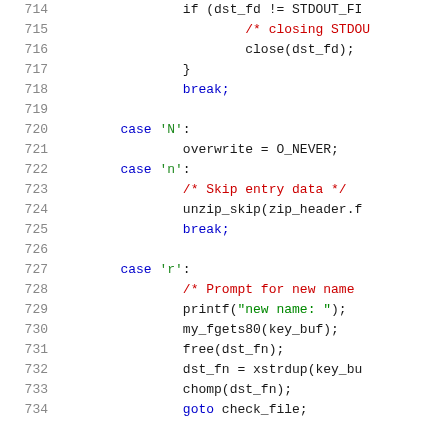[Figure (screenshot): Source code listing (C language), lines 714–734, showing a switch-case code block with cases for 'N', 'n', and 'r', including file descriptor checks, unzip_skip, and rename prompts.]